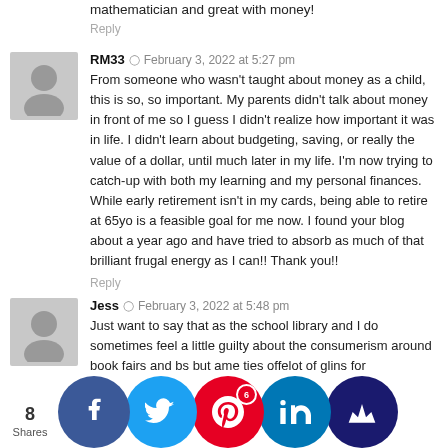mathematician and great with money!
Reply
RM33 · February 3, 2022 at 5:27 pm
From someone who wasn't taught about money as a child, this is so, so important. My parents didn't talk about money in front of me so I guess I didn't realize how important it was in life. I didn't learn about budgeting, saving, or really the value of a dollar, until much later in my life. I'm now trying to catch-up with both my learning and my personal finances. While early retirement isn't in my cards, being able to retire at 65yo is a feasible goal for me now. I found your blog about a year ago and have tried to absorb as much of that brilliant frugal energy as I can!! Thank you!!
Reply
Jess · February 3, 2022 at 5:48 pm
Just want to say that as the school library and I do sometimes feel a little guilty about the consumerism around book fairs and b...s but a...me ti...es offe...lot of g...li...ns for u...anding...versus...nd how
[Figure (infographic): Social share bar with 8 Shares count and buttons: Facebook, Twitter, Pinterest (6), LinkedIn thumbs-up, and a crown/bookmark button]